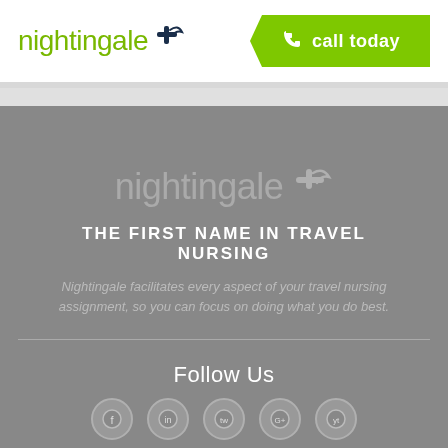[Figure (logo): Nightingale logo with green text and dark blue bird/cross icon, top left header]
[Figure (other): Green 'call today' button with phone icon, top right header]
[Figure (logo): Nightingale watermark logo in gray/light color on gray background, centered]
THE FIRST NAME IN TRAVEL NURSING
Nightingale facilitates every aspect of your travel nursing assignment, so you can focus on doing what you do best.
Follow Us
[Figure (other): Row of social media icon circles at the bottom]